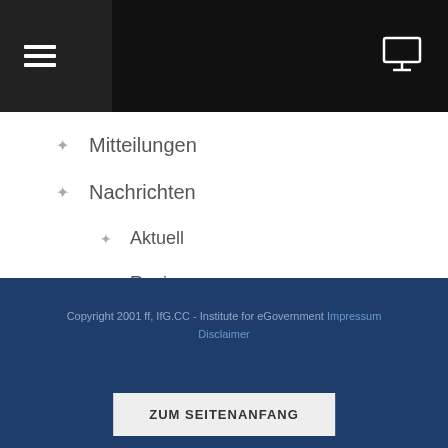Navigation header with hamburger menu and monitor icon
Mitteilungen
Nachrichten
Aktuell
Regionen
Themen
Veranstaltungen
Infobrief
Copyright 2001 ff, IfG.CC - Institute for eGovernment Impressum Disclaimer
ZUM SEITENANFANG